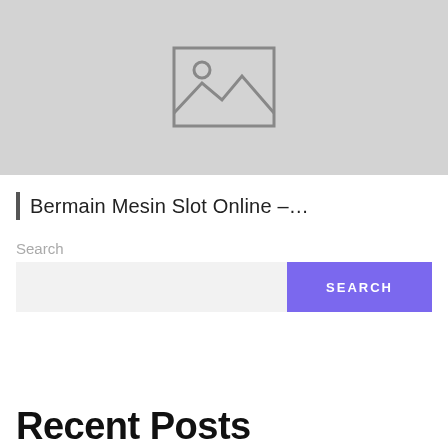[Figure (illustration): Gray placeholder image with mountain/landscape icon and image broken symbol in the center]
| Bermain Mesin Slot Online –…
Search
Recent Posts